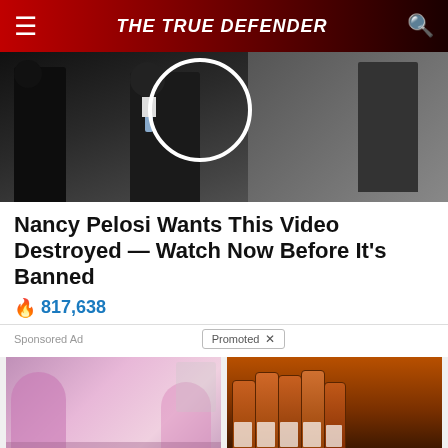THE TRUE DEFENDER
[Figure (photo): Dark photo of people in suits, one figure circled with a white circle highlight]
Nancy Pelosi Wants This Video Destroyed — Watch Now Before It's Banned
🔥 817,638
Sponsored Ad   Promoted ×
[Figure (photo): Two women in pink pajamas sitting on a couch]
A Teaspoon On An Empty Stomach Burns 12 Lbs Of Fat A Week Safely!
🔥 6,395
[Figure (photo): Multiple prescription pill bottles lined up]
4 Worst Blood Pressure Drugs (#2 Is Scary)
🔥 40,872